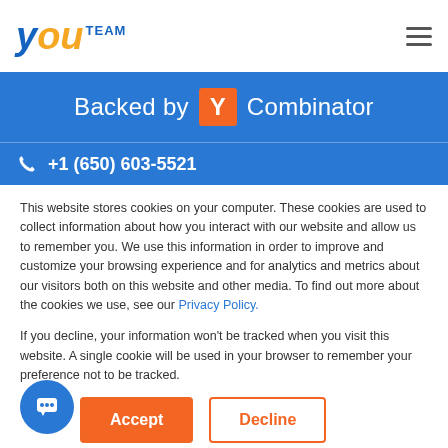[Figure (logo): YouTeam logo with stylized 'You' in blue/orange italic and 'TEAM' in blue capital letters]
[Figure (other): Hamburger menu icon (three horizontal lines)]
Backed by Y Combinator
+1 (650) 603-5521
This website stores cookies on your computer. These cookies are used to collect information about how you interact with our website and allow us to remember you. We use this information in order to improve and customize your browsing experience and for analytics and metrics about our visitors both on this website and other media. To find out more about the cookies we use, see our Privacy Policy.
If you decline, your information won't be tracked when you visit this website. A single cookie will be used in your browser to remember your preference not to be tracked.